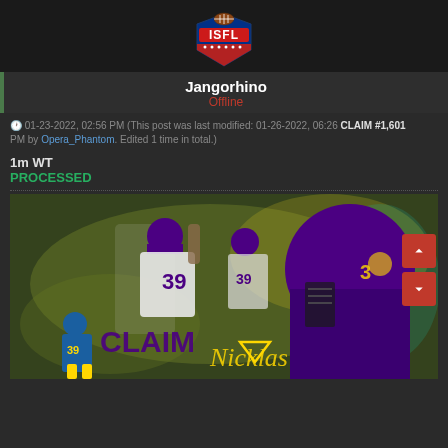[Figure (logo): ISFL football league logo: shield shape with red banner reading ISFL and a football above it]
Jangorhino
Offline
01-23-2022, 02:56 PM (This post was last modified: 01-26-2022, 06:26 PM by Opera_Phantom. Edited 1 time in total.) CLAIM #1,601
1m WT
PROCESSED
[Figure (photo): Football player card image showing player #39 in purple and gold Vikings uniform with multiple action shots, text reading CLAIM Nicklas at bottom]